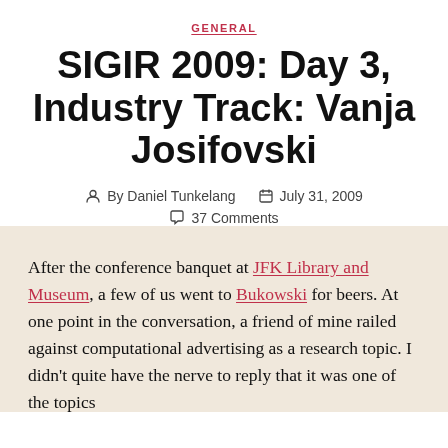GENERAL
SIGIR 2009: Day 3, Industry Track: Vanja Josifovski
By Daniel Tunkelang   July 31, 2009   37 Comments
After the conference banquet at JFK Library and Museum, a few of us went to Bukowski for beers. At one point in the conversation, a friend of mine railed against computational advertising as a research topic. I didn't quite have the nerve to reply that it was one of the topics